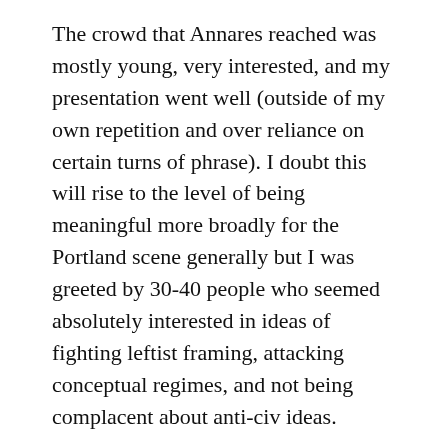The crowd that Annares reached was mostly young, very interested, and my presentation went well (outside of my own repetition and over reliance on certain turns of phrase). I doubt this will rise to the level of being meaningful more broadly for the Portland scene generally but I was greeted by 30-40 people who seemed absolutely interested in ideas of fighting leftist framing, attacking conceptual regimes, and not being complacent about anti-civ ideas.
The question and answer section was particularly delightful with a nice combination of easy (or newbie) and hard (experienced)